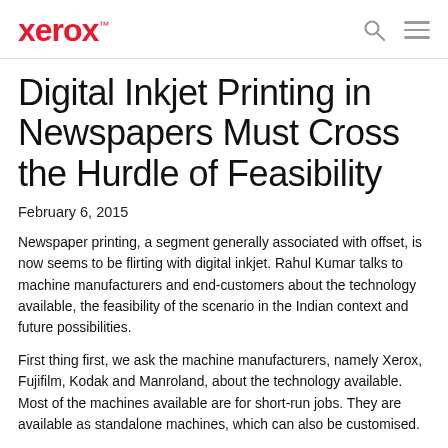xerox™
Digital Inkjet Printing in Newspapers Must Cross the Hurdle of Feasibility
February 6, 2015
Newspaper printing, a segment generally associated with offset, is now seems to be flirting with digital inkjet. Rahul Kumar talks to machine manufacturers and end-customers about the technology available, the feasibility of the scenario in the Indian context and future possibilities.
First thing first, we ask the machine manufacturers, namely Xerox, Fujifilm, Kodak and Manroland, about the technology available. Most of the machines available are for short-run jobs. They are available as standalone machines, which can also be customised.